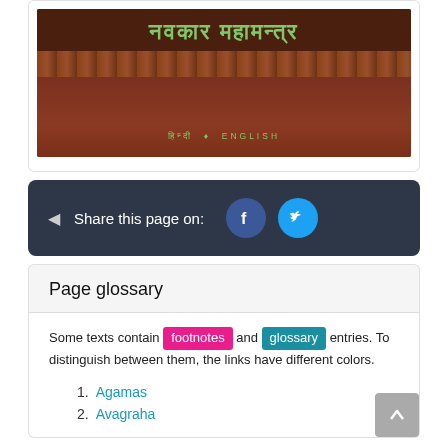[Figure (photo): Book cover of 'Navkar Mahamantra' with Hindi title in green text on dark reddish-brown background, with subtitle 'Hindi • English']
Share this page on: [Facebook button] [Twitter button]
Page glossary
Some texts contain footnotes and glossary entries. To distinguish between them, the links have different colors.
1. Agamas
2. Avagraha